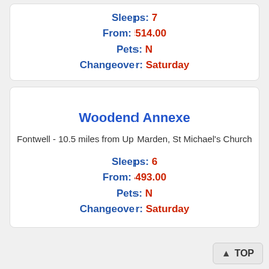Sleeps: 7
From: 514.00
Pets: N
Changeover: Saturday
Woodend Annexe
Fontwell - 10.5 miles from Up Marden, St Michael's Church
Sleeps: 6
From: 493.00
Pets: N
Changeover: Saturday